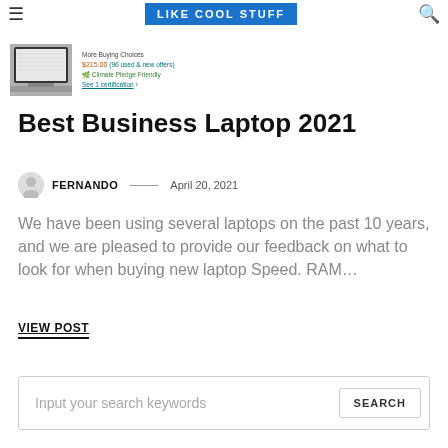LIKE COOL STUFF
[Figure (screenshot): Partial screenshot of an Amazon product listing showing a laptop thumbnail, price $215.00 with 96 used & new offers, Climate Pledge Friendly, See 1 certification link]
Best Business Laptop 2021
FERNANDO — April 20, 2021
We have been using several laptops on the past 10 years, and we are pleased to provide our feedback on what to look for when buying new laptop Speed. RAM…
VIEW POST
Input your search keywords  SEARCH